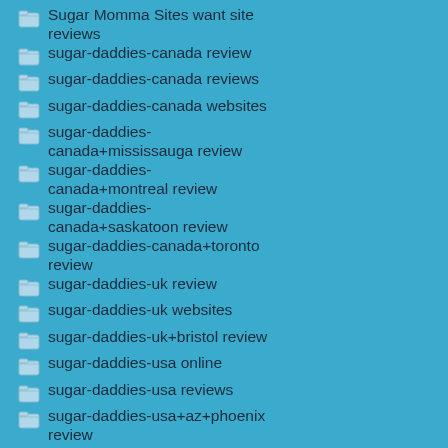Sugar Momma Sites want site reviews
sugar-daddies-canada review
sugar-daddies-canada reviews
sugar-daddies-canada websites
sugar-daddies-canada+mississauga review
sugar-daddies-canada+montreal review
sugar-daddies-canada+saskatoon review
sugar-daddies-canada+toronto review
sugar-daddies-uk review
sugar-daddies-uk websites
sugar-daddies-uk+bristol review
sugar-daddies-usa online
sugar-daddies-usa reviews
sugar-daddies-usa+az+phoenix review
sugar-daddies-usa+ca review
sugar-daddies-usa+ca+fresno review
sugar-daddies-usa+ca+los